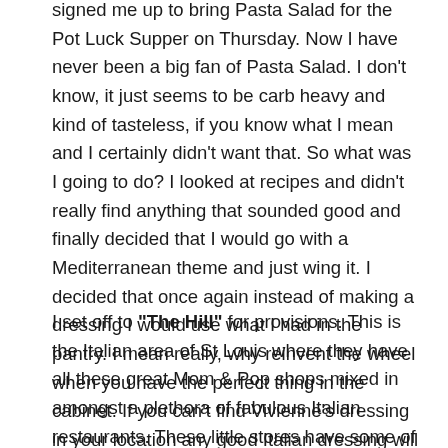signed me up to bring Pasta Salad for the Pot Luck Supper on Thursday. Now I have never been a big fan of Pasta Salad. I don't know, it just seems to be carb heavy and kind of tasteless, if you know what I mean and I certainly didn't want that. So what was I going to do? I looked at recipes and didn't really find anything that sounded good and finally decided that I would go with a Mediterranean theme and just wing it. I decided that once again instead of making a dressing I would use what I had in the pantry. I mean really, why reinvent the wheel when you have the perfect thing in the cabinet. If you can't find Vivienne's dressing in your location any good Italian dressing will work.
I set off to "The Hill" for provisions. This is the Italian area of St Louis where they have all these great Mom & Pop shops mixed in amongst a plethora of fabulous Italian restaurants. These little stores have some of the best deals in town on everything Italian. Olives, Artichoke Hearts, Sun Dried